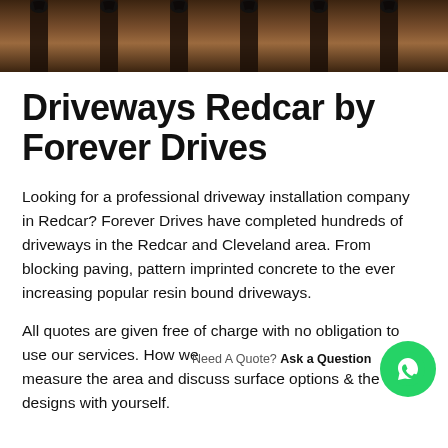[Figure (photo): Header image showing decorative iron fence posts against wooden background]
Driveways Redcar by Forever Drives
Looking for a professional driveway installation company in Redcar? Forever Drives have completed hundreds of driveways in the Redcar and Cleveland area. From blocking paving, pattern imprinted concrete to the ever increasing popular resin bound driveways.
All quotes are given free of charge with no obligation to use our services. How we [Need A Quote? Ask a Question] e will measure the area and discuss surface options and the designs with yourself.